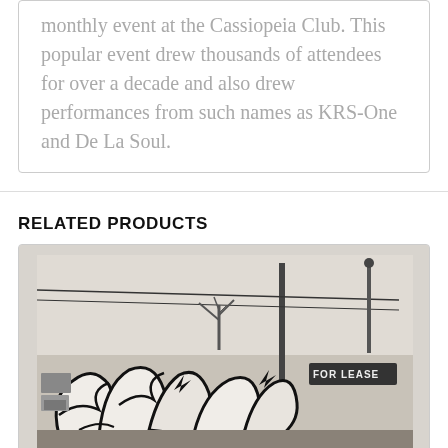monthly event at the Cassiopeia Club. This popular event drew thousands of attendees for over a decade and also drew performances from such names as KRS-One and De La Soul.
RELATED PRODUCTS
[Figure (photo): Black and white photograph showing graffiti art on a surface, with utility poles, bare trees, and a 'FOR LEASE' sign visible in the background. The image has a polaroid-style white border.]